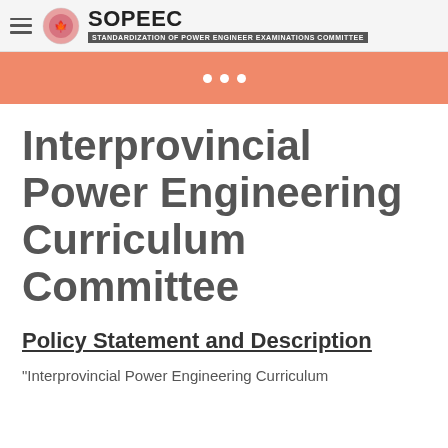SOPEEC – STANDARDIZATION OF POWER ENGINEER EXAMINATIONS COMMITTEE
[Figure (other): Salmon/orange decorative banner with three white dots]
Interprovincial Power Engineering Curriculum Committee
Policy Statement and Description
"Interprovincial Power Engineering Curriculum